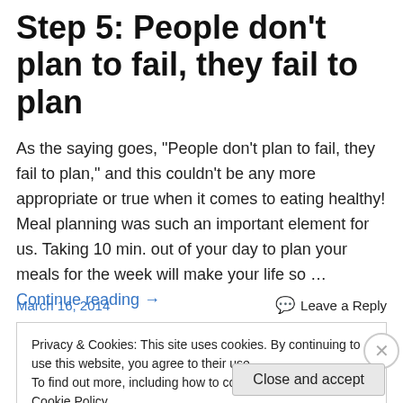Step 5: People don't plan to fail, they fail to plan
As the saying goes, "People don't plan to fail, they fail to plan," and this couldn't be any more appropriate or true when it comes to eating healthy! Meal planning was such an important element for us. Taking 10 min. out of your day to plan your meals for the week will make your life so … Continue reading →
March 16, 2014
Leave a Reply
Privacy & Cookies: This site uses cookies. By continuing to use this website, you agree to their use.
To find out more, including how to control cookies, see here: Cookie Policy
Close and accept